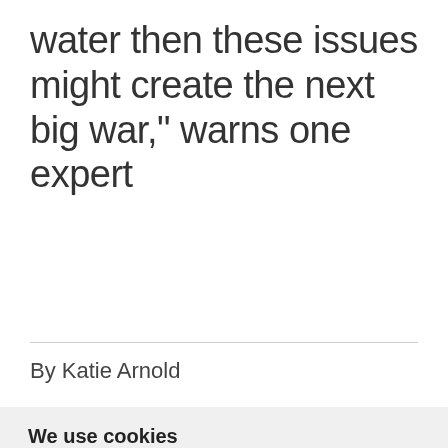water then these issues might create the next big war," warns one expert
By Katie Arnold
We use cookies
We use cookies and other tracking technologies to improve your browsing experience on our website, to show you personalized content and targeted ads, to analyze our website traffic, and to understand where our visitors are coming from.